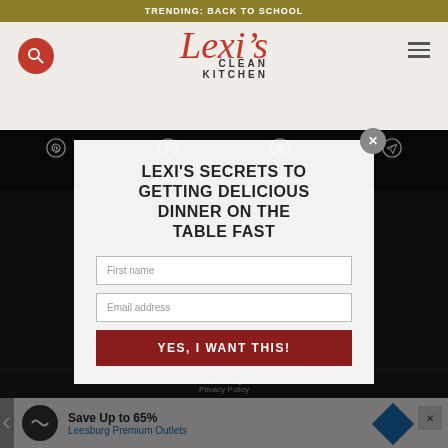TRENDING: BACK TO SCHOOL
[Figure (logo): Lexi's Clean Kitchen logo with script and sans-serif text]
[Figure (screenshot): Navigation bar with Pinterest, Facebook, Instagram, and send icons]
About us | Contact us
LEXI'S SECRETS TO GETTING DELICIOUS DINNER ON THE TABLE FAST
First name
Email address
YES, I WANT THIS!
Lexis Clean Living © 2021
Privacy Policy
AN ELITE CAFEMEDIA FOOD PUBLISHER
Save Up to 65%
Leesburg Premium Outlets